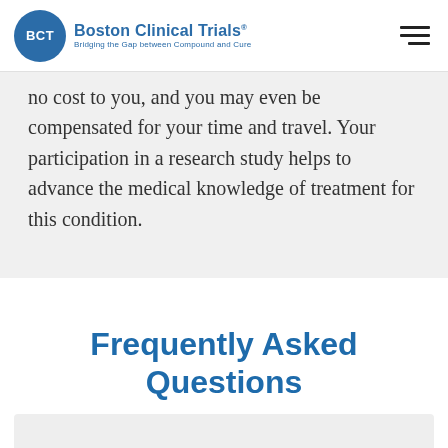Boston Clinical Trials — Bridging the Gap between Compound and Cure
no cost to you, and you may even be compensated for your time and travel. Your participation in a research study helps to advance the medical knowledge of treatment for this condition.
Frequently Asked Questions